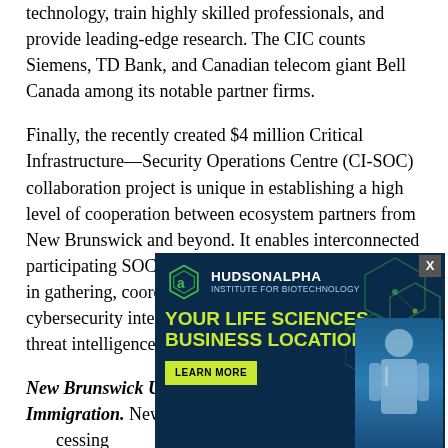technology, train highly skilled professionals, and provide leading-edge research. The CIC counts Siemens, TD Bank, and Canadian telecom giant Bell Canada among its notable partner firms.
Finally, the recently created $4 million Critical Infrastructure—Security Operations Centre (CI-SOC) collaboration project is unique in establishing a high level of cooperation between ecosystem partners from New Brunswick and beyond. It enables interconnected participating SOCs of top global players to collaborate in gathering, coordinating, and consuming cybersecurity intelligence, and producing high quality-threat intelligence for coordinating responses.
New Brunswick Understands the Importance of Immigration.
New Brunswick… [text continues, partially obscured by advertisement overlay] …accessing great local… …NB created a… …ce development… …only
[Figure (illustration): HudsonAlpha Institute for Biotechnology advertisement banner. Dark navy background with hexagonal decorative elements in green/teal tones, a scientist/person image on the right. Text reads: HudsonAlpha Institute for Biotechnology, YOUR LIFE SCIENCES BUSINESS LOCATION, LEARN MORE button. An X close button in top right corner.]